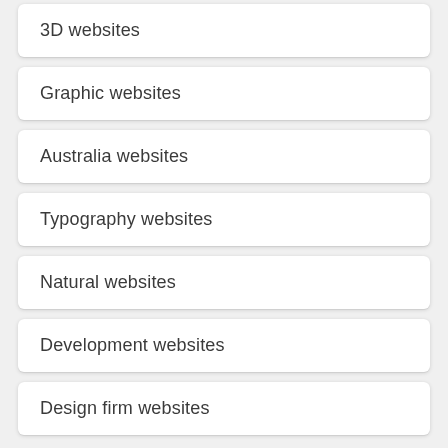3D websites
Graphic websites
Australia websites
Typography websites
Natural websites
Development websites
Design firm websites